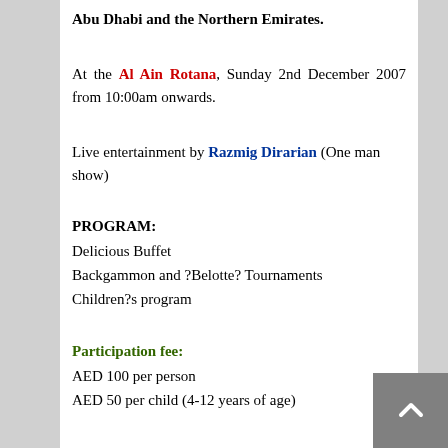Abu Dhabi and the Northern Emirates.
At the Al Ain Rotana, Sunday 2nd December 2007 from 10:00am onwards.
Live entertainment by Razmig Dirarian (One man show)
PROGRAM:
Delicious Buffet
Backgammon and ?Belotte? Tournaments
Children?s program
Participation fee:
AED 100 per person
AED 50 per child (4-12 years of age)